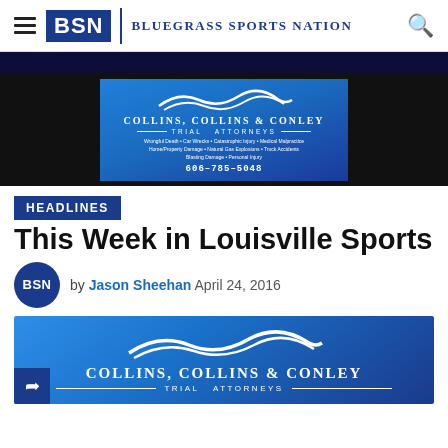BSN | Bluegrass Sports Nation
[Figure (logo): Collins, Collins & Conley Trial Attorneys advertisement banner with mountain wave logo and phone number 606-785-5048]
HEADLINES
This Week in Louisville Sports
by Jason Sheehan  April 24, 2016
[Figure (logo): Collins, Collins & Conley Trial Attorneys advertisement banner with mountain wave logo, partially cropped at bottom of page]